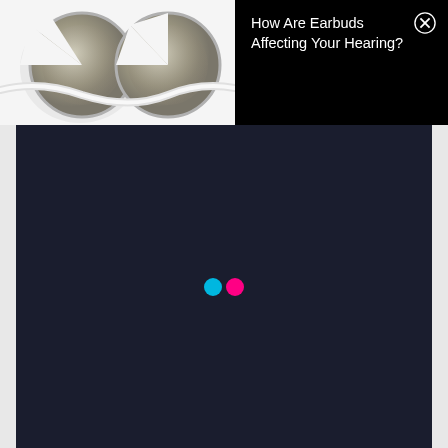[Figure (photo): Close-up photo of two white earbuds/earphones on a white background]
[Figure (screenshot): Black advertisement banner with white text reading 'How Are Earbuds Affecting Your Hearing?' and a circular X close button in the top-right corner]
[Figure (screenshot): Flickr website loading screen with dark navy background and two colored dots (cyan and pink) in the center, representing the Flickr logo loading animation]